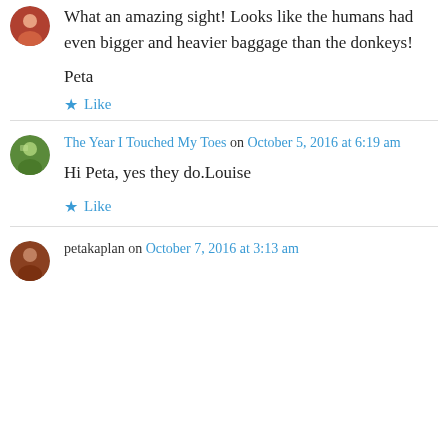What an amazing sight! Looks like the humans had even bigger and heavier baggage than the donkeys!
Peta
Like
The Year I Touched My Toes on October 5, 2016 at 6:19 am
Hi Peta, yes they do.Louise
Like
petakaplan on October 7, 2016 at 3:13 am